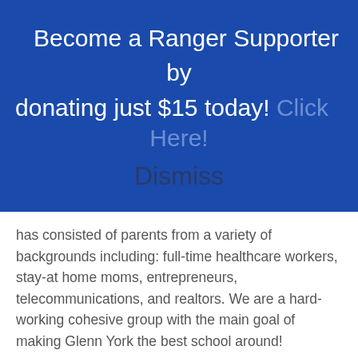Become a Ranger Supporter by donating just $15 today! Click Here!
Dismiss
has consisted of parents from a variety of backgrounds including: full-time healthcare workers, stay-at home moms, entrepreneurs, telecommunications, and realtors. We are a hard-working cohesive group with the main goal of making Glenn York the best school around!